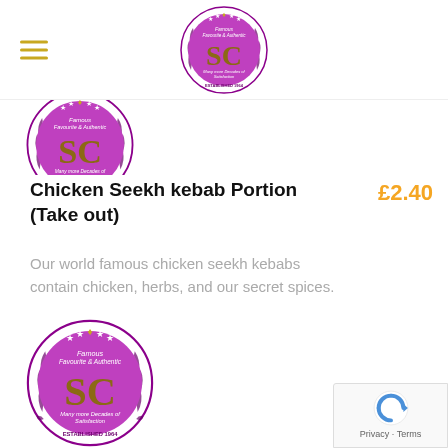[Figure (logo): SC restaurant circular logo with purple background, gold SC letters, wheat wreath border, stars, text 'Famous Favourite & Authentic', 'Many more Decades of Satisfaction', 'Established 1964']
[Figure (logo): Partial SC restaurant circular logo cropped at top of content area]
Chicken Seekh kebab Portion (Take out)
£2.40
Our world famous chicken seekh kebabs contain chicken, herbs, and our secret spices.
[Figure (logo): SC restaurant circular logo - full version shown in lower half of page]
Chicken Seekh Portion (Eat in)
£1.0(truncated)